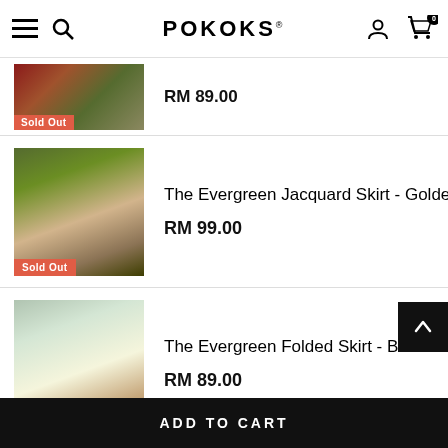POKOKS
RM 89.00
Sold Out
The Evergreen Jacquard Skirt - Golden Autumn
RM 99.00
Sold Out
The Evergreen Folded Skirt - Botanical
RM 89.00
Sold Out
ADD TO CART